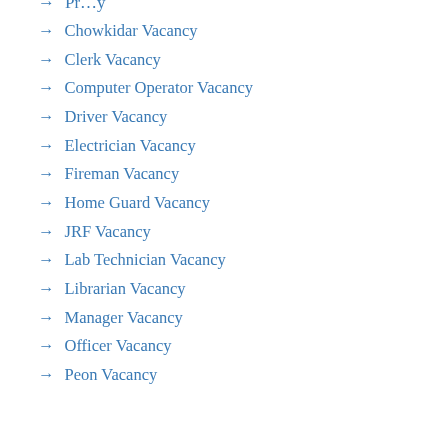→ Chowkidar Vacancy
→ Clerk Vacancy
→ Computer Operator Vacancy
→ Driver Vacancy
→ Electrician Vacancy
→ Fireman Vacancy
→ Home Guard Vacancy
→ JRF Vacancy
→ Lab Technician Vacancy
→ Librarian Vacancy
→ Manager Vacancy
→ Officer Vacancy
→ Peon Vacancy